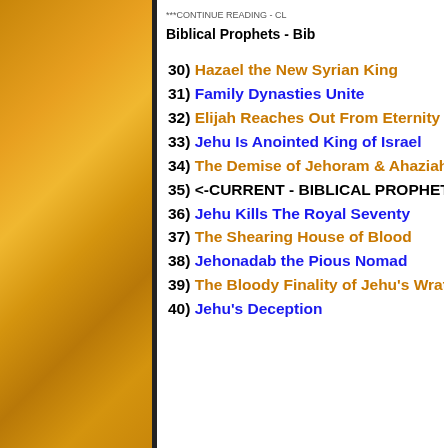***CONTINUE READING - CL
Biblical Prophets - Bib
30) Hazael the New Syrian King
31) Family Dynasties Unite
32) Elijah Reaches Out From Eternity
33) Jehu Is Anointed King of Israel
34) The Demise of Jehoram & Ahaziah
35) <-CURRENT - BIBLICAL PROPHETS - PAG
36) Jehu Kills The Royal Seventy
37) The Shearing House of Blood
38) Jehonadab the Pious Nomad
39) The Bloody Finality of Jehu's Wrath
40) Jehu's Deception